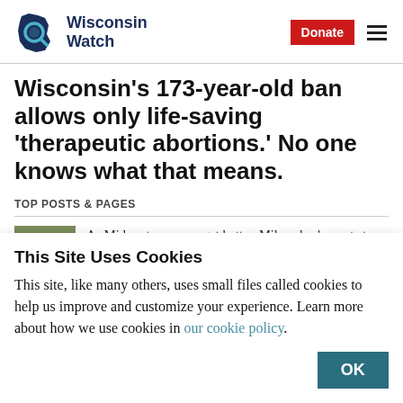[Figure (logo): Wisconsin Watch logo — Wisconsin state outline with magnifying glass icon and bold text 'Wisconsin Watch']
Wisconsin's 173-year-old ban allows only life-saving 'therapeutic abortions.' No one knows what that means.
TOP POSTS & PAGES
As Midwest summers get hotter, Milwaukee's most at risk have an unmet need: air conditioning
This Site Uses Cookies
This site, like many others, uses small files called cookies to help us improve and customize your experience. Learn more about how we use cookies in our cookie policy.